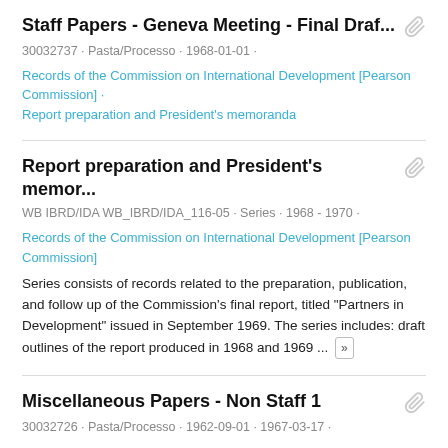Staff Papers - Geneva Meeting - Final Draf...
30032737 · Pasta/Processo · 1968-01-01 ·
Records of the Commission on International Development [Pearson Commission] ·
Report preparation and President's memoranda
Report preparation and President's memor...
WB IBRD/IDA WB_IBRD/IDA_116-05 · Series · 1968 - 1970 ·
Records of the Commission on International Development [Pearson Commission]
Series consists of records related to the preparation, publication, and follow up of the Commission's final report, titled "Partners in Development" issued in September 1969. The series includes: draft outlines of the report produced in 1968 and 1969 ... »
Miscellaneous Papers - Non Staff 1
30032726 · Pasta/Processo · 1962-09-01 · 1967-03-17 ·